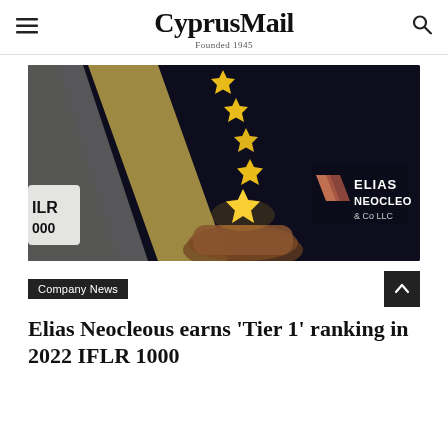CyprusMail — Founded 1945
[Figure (photo): Dark background image showing a hand holding glowing golden stars floating upward, with geometric gold/grey shapes on the left and the Elias Neocleous & Co LLC logo on the right, and IFLR 1000 partial text on left edge.]
Company News
Elias Neocleous earns 'Tier 1' ranking in 2022 IFLR 1000